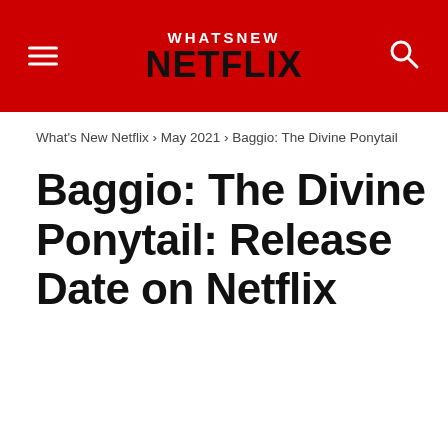WHATSNEW NETFLIX
What's New Netflix › May 2021 › Baggio: The Divine Ponytail
Baggio: The Divine Ponytail: Release Date on Netflix